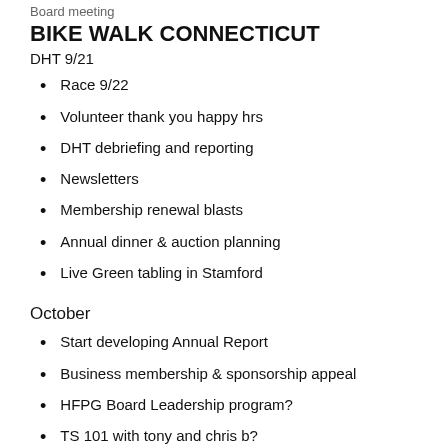Board meeting
BIKE WALK CONNECTICUT
DHT 9/21
Race 9/22
Volunteer thank you happy hrs
DHT debriefing and reporting
Newsletters
Membership renewal blasts
Annual dinner & auction planning
Live Green tabling in Stamford
October
Start developing Annual Report
Business membership & sponsorship appeal
HFPG Board Leadership program?
TS 101 with tony and chris b?